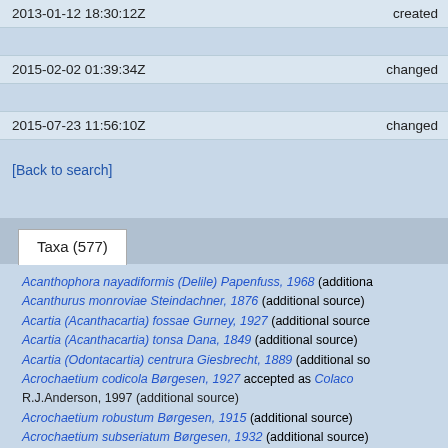| Date | Action |
| --- | --- |
| 2013-01-12 18:30:12Z | created |
| 2015-02-02 01:39:34Z | changed |
| 2015-07-23 11:56:10Z | changed |
[Back to search]
Taxa (577)
Acanthophora nayadiformis (Delile) Papenfuss, 1968 (additional source)
Acanthurus monroviae Steindachner, 1876 (additional source)
Acartia (Acanthacartia) fossae Gurney, 1927 (additional source)
Acartia (Acanthacartia) tonsa Dana, 1849 (additional source)
Acartia (Odontacartia) centrura Giesbrecht, 1889 (additional source)
Acrochaetium codicola Børgesen, 1927 accepted as Colaco R.J.Anderson, 1997 (additional source)
Acrochaetium robustum Børgesen, 1915 (additional source)
Acrochaetium subseriatum Børgesen, 1932 (additional source)
Acrothamnion preissii (Sonder) E.M.Wollaston, 1968 (additional source)